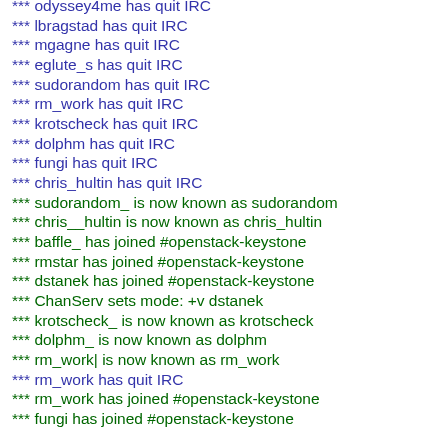*** odyssey4me has quit IRC
*** lbragstad has quit IRC
*** mgagne has quit IRC
*** eglute_s has quit IRC
*** sudorandom has quit IRC
*** rm_work has quit IRC
*** krotscheck has quit IRC
*** dolphm has quit IRC
*** fungi has quit IRC
*** chris_hultin has quit IRC
*** sudorandom_ is now known as sudorandom
*** chris__hultin is now known as chris_hultin
*** baffle_ has joined #openstack-keystone
*** rmstar has joined #openstack-keystone
*** dstanek has joined #openstack-keystone
*** ChanServ sets mode: +v dstanek
*** krotscheck_ is now known as krotscheck
*** dolphm_ is now known as dolphm
*** rm_work| is now known as rm_work
*** rm_work has quit IRC
*** rm_work has joined #openstack-keystone
*** fungi has joined #openstack-keystone